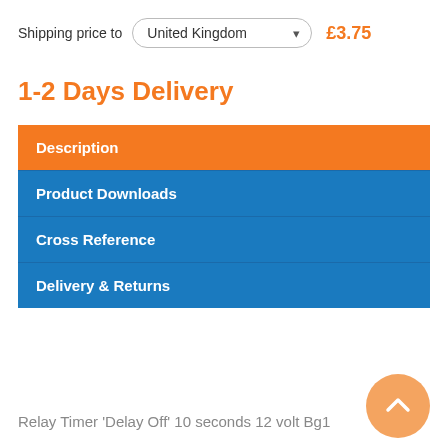Shipping price to United Kingdom £3.75
1-2 Days Delivery
| Description |
| Product Downloads |
| Cross Reference |
| Delivery & Returns |
Relay Timer 'Delay Off' 10 seconds 12 volt Bg1